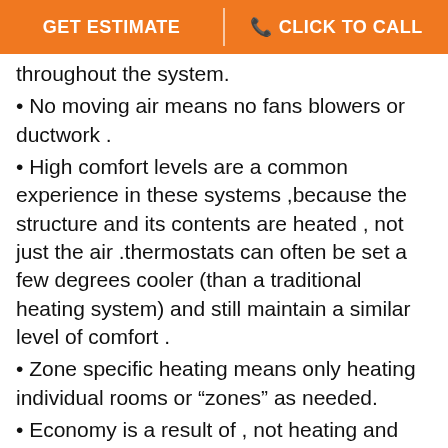GET ESTIMATE | CLICK TO CALL
throughout the system.
No moving air means no fans blowers or ductwork .
High comfort levels are a common experience in these systems ,because the structure and its contents are heated , not just the air .thermostats can often be set a few degrees cooler (than a traditional heating system) and still maintain a similar level of comfort .
Zone specific heating means only heating individual rooms or “zones” as needed.
Economy is a result of , not heating and moving air lower operating temps, more